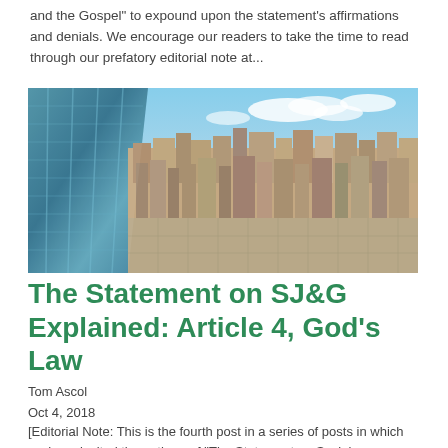and the Gospel" to expound upon the statement's affirmations and denials. We encourage our readers to take the time to read through our prefatory editorial note at...
[Figure (photo): Aerial view of a dense urban cityscape, likely New York City or Philadelphia, taken from a high-rise building with glass facade visible on the left side. The city grid extends to the horizon under a partly cloudy sky.]
The Statement on SJ&G Explained: Article 4, God's Law
Tom Ascol
Oct 4, 2018
[Editorial Note: This is the fourth post in a series of posts in which we have invited the authors of "The Statement on Social